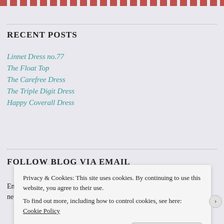RECENT POSTS
Linnet Dress no.77
The Float Top
The Carefree Dress
The Triple Digit Dress
Happy Coverall Dress
FOLLOW BLOG VIA EMAIL
Enter your email address to follow this blog and receive notifications of new posts by email.
Privacy & Cookies: This site uses cookies. By continuing to use this website, you agree to their use.
To find out more, including how to control cookies, see here: Cookie Policy